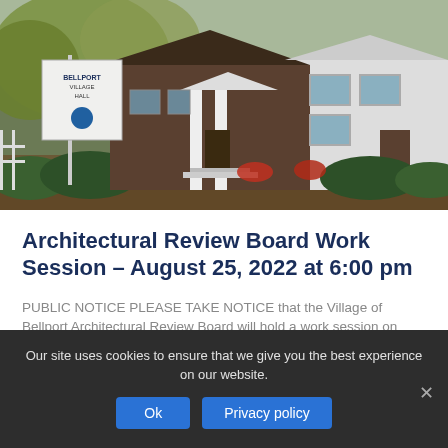[Figure (photo): Exterior photo of Bellport Village Hall building with sign in front, showing a shingle-style building with white columns, green bushes, and red flowers]
Architectural Review Board Work Session – August 25, 2022 at 6:00 pm
PUBLIC NOTICE PLEASE TAKE NOTICE that the Village of Bellport Architectural Review Board will hold a work session on Thursday, August 25, 2022 at 6:00 pm
Our site uses cookies to ensure that we give you the best experience on our website.